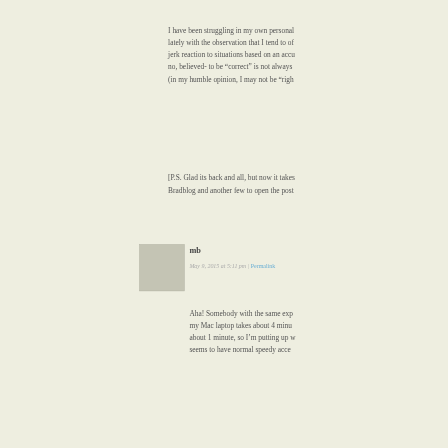I have been struggling in my own personal lately with the observation that I tend to of jerk reaction to situations based on an accu no, believed- to be "correct" is not always (in my humble opinion, I may not be "righ
[P.S. Glad its back and all, but now it takes Bradblog and another few to open the post
mb
May 9, 2015 at 5:11 pm | Permalink
Aha! Somebody with the same exp my Mac laptop takes about 4 minu about 1 minute, so I'm putting up w seems to have normal speedy acce